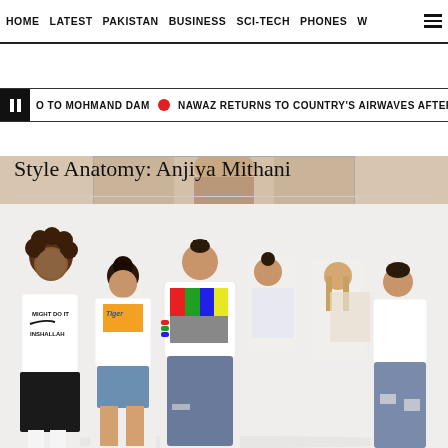HOME  LATEST  PAKISTAN  BUSINESS  SCI-TECH  PHONES  W  ≡
TO MOHMAND DAM  •  NAWAZ RETURNS TO COUNTRY'S AIRWAVES AFTER THRE...
[Figure (photo): Top partial image strip showing people in fashion shoot, beige/tan background]
Style Anatomy: Anjiya Mithani
[Figure (photo): Group of young people in casual streetwear fashion. Man on left wears white t-shirt reading MIGHT DO IT INSHALLAH with Nike swoosh and black skirt. Others wear casual jeans, denim shorts, and colorful graphic tees. Advertisement overlay on bottom right showing BestSelling AliExpress ad.]